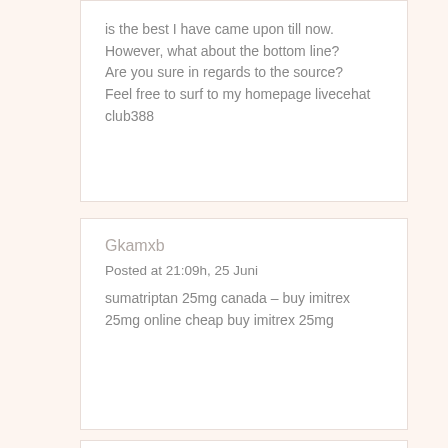is the best I have came upon till now. However, what about the bottom line?
Are you sure in regards to the source?
Feel free to surf to my homepage livecehat club388
Gkamxb
Posted at 21:09h, 25 Juni
sumatriptan 25mg canada – buy imitrex 25mg online cheap buy imitrex 25mg
Situs Slot linkaja